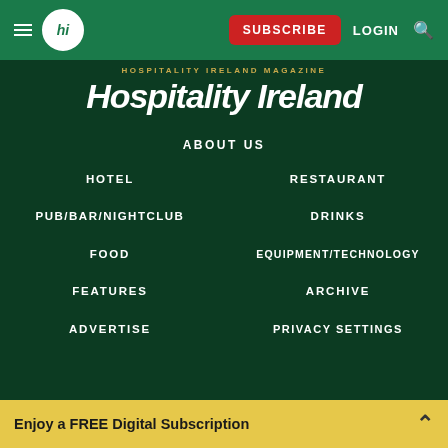hi SUBSCRIBE LOGIN [search]
HOSPITALITY IRELAND MAGAZINE
Hospitality Ireland
ABOUT US
HOTEL
RESTAURANT
PUB/BAR/NIGHTCLUB
DRINKS
FOOD
EQUIPMENT/TECHNOLOGY
FEATURES
ARCHIVE
ADVERTISE
PRIVACY SETTINGS
Enjoy a FREE Digital Subscription